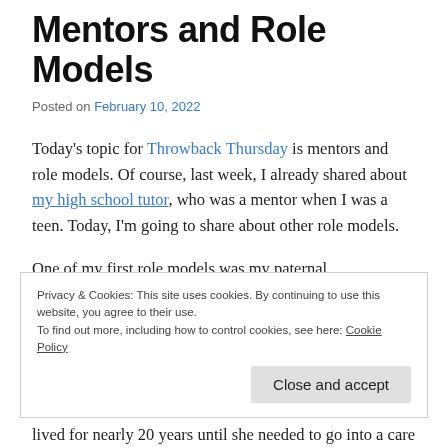Mentors and Role Models
Posted on February 10, 2022
Today's topic for Throwback Thursday is mentors and role models. Of course, last week, I already shared about my high school tutor, who was a mentor when I was a teen. Today, I'm going to share about other role models.
One of my first role models was my paternal grandmother. She was a fiercely independent, self-determined woman. In 1973, a year after women were legally equal to men
Privacy & Cookies: This site uses cookies. By continuing to use this website, you agree to their use.
To find out more, including how to control cookies, see here: Cookie Policy
lived for nearly 20 years until she needed to go into a care